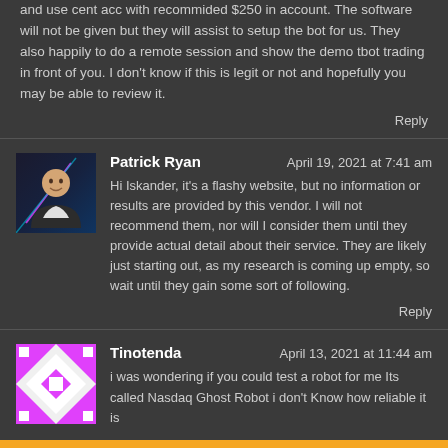and use cent acc with recommided $250 in account. The software will not be given but they will assist to setup the bot for us. They also happily to do a remote session and show the demo tbot trading in front of you. I don't know if this is legit or not and hopefully you may be able to review it.
Reply
Patrick Ryan   April 19, 2021 at 7:41 am
Hi Iskander, it's a flashy website, but no information or results are provided by this vendor. I will not recommend them, nor will I consider them until they provide actual detail about their service. They are likely just starting out, as my research is coming up empty, so wait until they gain some sort of following.
Reply
Tinotenda   April 13, 2021 at 11:44 am
i was wondering if you could test a robot for me Its called Nasdaq Ghost Robot i don't Know how reliable it is